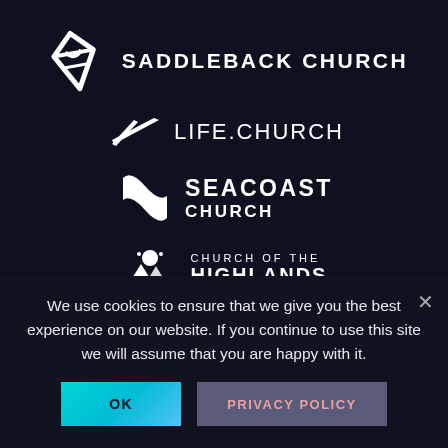[Figure (logo): Saddleback Church logo - geometric diamond/leaf shape icon with text SADDLEBACK CHURCH in white on dark background]
[Figure (logo): Life.Church logo - stylized swoosh/arrow icon with text LIFE.CHURCH in white on dark background]
[Figure (logo): Seacoast Church logo - wave/surf shape icon with text SEACOAST CHURCH in white on dark background]
[Figure (logo): Church of the Highlands logo - mountain/landscape icon with text CHURCH OF THE HIGHLANDS in white on dark background]
[Figure (logo): Community logo - partial view with arrow/chevron icon and text COMMUNITY partially visible]
We use cookies to ensure that we give you the best experience on our website. If you continue to use this site we will assume that you are happy with it.
OK
PRIVACY POLICY